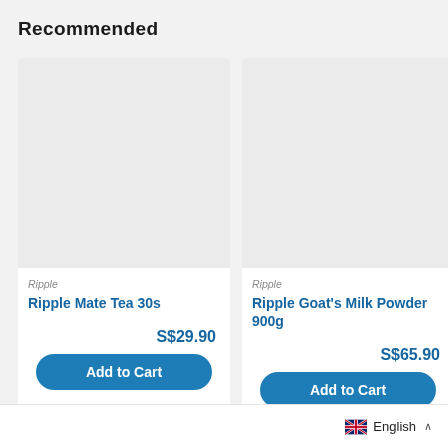Recommended
[Figure (screenshot): Product card image placeholder (light gray rectangle) for Ripple Mate Tea 30s]
Ripple
Ripple Mate Tea 30s
S$29.90
Add to Cart
[Figure (screenshot): Product card image placeholder (light gray rectangle) for Ripple Goat's Milk Powder 900g]
Ripple
Ripple Goat's Milk Powder 900g
S$65.90
Add to Cart
[Figure (screenshot): Partially visible third product card with brand Ripple and product name starting with Goa (Age...) clipped on the right edge]
Ripple
Goa (Age
English